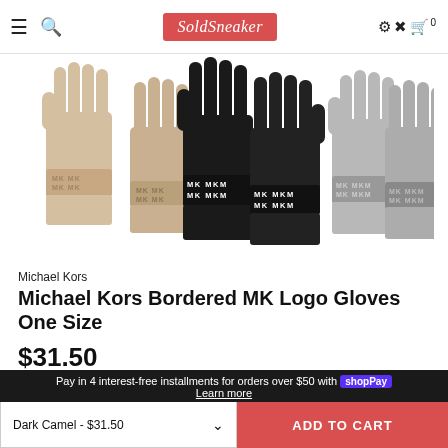SoldSneaker
[Figure (photo): Three pairs of Michael Kors knit gloves in beige/camel, black, and gray, each showing the MK logo pattern on the wrist band]
Michael Kors
Michael Kors Bordered MK Logo Gloves One Size
$31.50
Pay in 4 interest-free installments for orders over $50 with shop Pay
Learn more
Dark Camel - $31.50
ADD TO CART